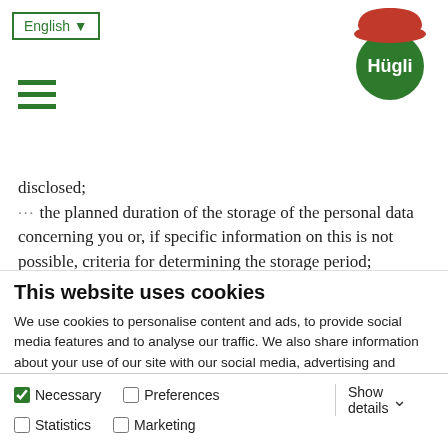English ▼ [hamburger menu] [Hügli logo]
disclosed;
··· the planned duration of the storage of the personal data concerning you or, if specific information on this is not possible, criteria for determining the storage period;
This website uses cookies
We use cookies to personalise content and ads, to provide social media features and to analyse our traffic. We also share information about your use of our site with our social media, advertising and analytics partners who may combine it with other information that you've provided to them or that they've collected from your use of their services.
Allow all cookies
Allow selection
Use necessary cookies only
Necessary  Preferences  Statistics  Marketing  Show details